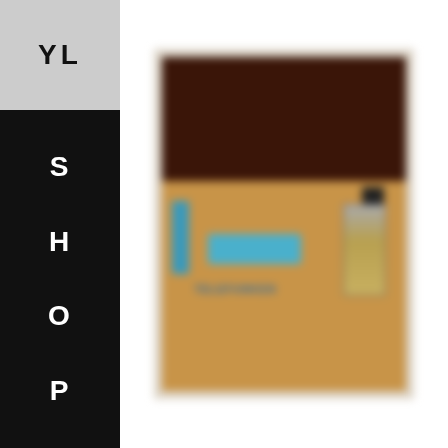YL
S
H
O
P
[Figure (photo): Blurred framed artwork showing a cardboard box or poster with the word TELEFUNKEN printed in blue text, with a bottle or container visible on the right side, and a dark brown upper section resembling wood paneling. The piece appears to be a collage or mixed media work displayed in a white frame.]